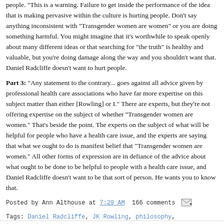people. "This is a warning. Failure to get inside the performance of the idea that is making pervasive within the culture is hurting people. Don't say anything inconsistent with "Transgender women are women" or you are doing something harmful. You might imagine that it's worthwhile to speak openly about many different ideas or that searching for "the truth" is healthy and valuable, but you're doing damage along the way and you shouldn't want that. Daniel Radcliffe doesn't want to hurt people.
Part 3:  "Any statement to the contrary... goes against all advice given by professional health care associations who have far more expertise on this subject matter than either [Rowling] or I." There are experts, but they're not offering expertise on the subject of whether "Transgender women are women." That's beside the point. The experts are on the subject of what will be helpful for people who have a health care issue, and the experts are saying that what we ought to do is manifest belief that "Transgender women are women." All other forms of expression are in defiance of the advice about what ought to be done to be helpful to people with a health care issue, and Daniel Radcliffe doesn't want to be that sort of person. He wants you to know that.
Posted by Ann Althouse at 7:29 AM  166 comments
Tags: Daniel Radcliffe, JK Rowling, philosophy, transgender